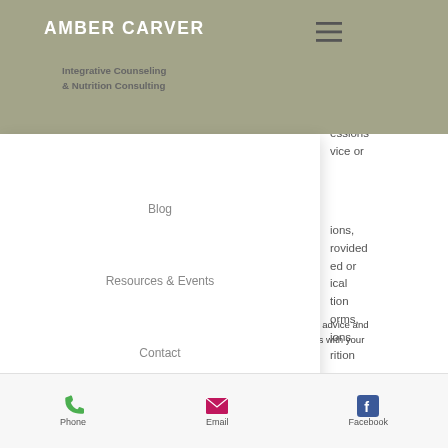AMBER CARVER – Integrative Counseling & Nutrition Consulting
Blog
Resources & Events
Contact
Consulting, LLC  should not be considered medical advice and does not take the place of one-on-one consultations with your medical professional.
Phone   Email   Facebook